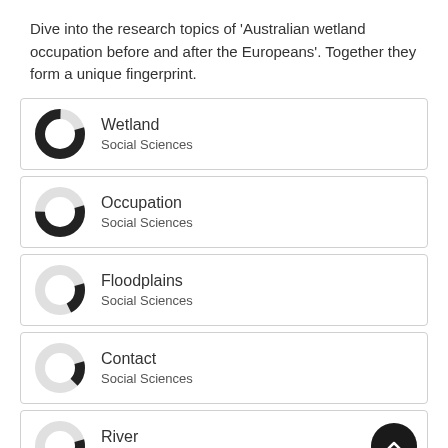Dive into the research topics of 'Australian wetland occupation before and after the Europeans'. Together they form a unique fingerprint.
Wetland
Social Sciences
Occupation
Social Sciences
Floodplains
Social Sciences
Contact
Social Sciences
River
Social Sciences